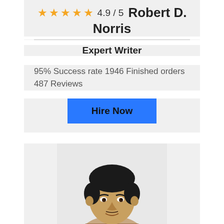4.9 / 5 Robert D. Norris
Expert Writer
95% Success rate 1946 Finished orders 487 Reviews
Hire Now
[Figure (photo): Portrait photo of a man with dark hair, smiling slightly, against a light background]